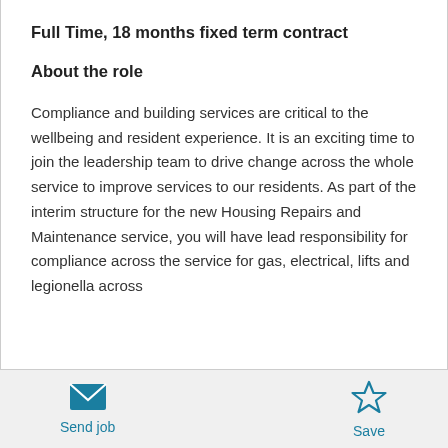Full Time, 18 months fixed term contract
About the role
Compliance and building services are critical to the wellbeing and resident experience. It is an exciting time to join the leadership team to drive change across the whole service to improve services to our residents. As part of the interim structure for the new Housing Repairs and Maintenance service, you will have lead responsibility for compliance across the service for gas, electrical, lifts and legionella across
[Figure (other): Email envelope icon with label 'Send job']
[Figure (other): Star outline icon with label 'Save']